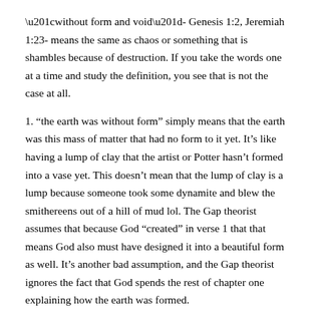“without form and void”- Genesis 1:2, Jeremiah 1:23- means the same as chaos or something that is shambles because of destruction. If you take the words one at a time and study the definition, you see that is not the case at all.
1. “the earth was without form” simply means that the earth was this mass of matter that had no form to it yet. It’s like having a lump of clay that the artist or Potter hasn’t formed into a vase yet. This doesn’t mean that the lump of clay is a lump because someone took some dynamite and blew the smithereens out of a hill of mud lol. The Gap theorist assumes that because God “created” in verse 1 that that means God also must have designed it into a beautiful form as well. It’s another bad assumption, and the Gap theorist ignores the fact that God spends the rest of chapter one explaining how the earth was formed.
2. The word “void” simply means something that is empty, like an empty box. If I look at an empty cave, for example, or an empty lake, I’m not going to automatically assume that some sort of judgement must have taken place to remove every animal or human being from the cave or lake. So, the Gap theorist assumes that if the earth was void, or empty, that must mean that God killed off the inhabitants. Not so! Again, God